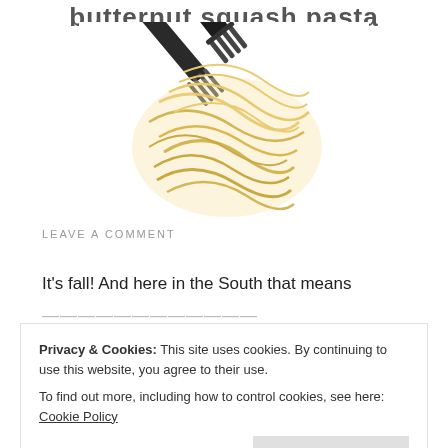butternut squash pasta
[Figure (photo): A fork twirling spaghetti pasta against a white background]
LEAVE A COMMENT
It's fall! And here in the South that means
Privacy & Cookies: This site uses cookies. By continuing to use this website, you agree to their use.
To find out more, including how to control cookies, see here: Cookie Policy
Close and accept
- Butternut Squash Spaghetti 1 large (or 2 small)